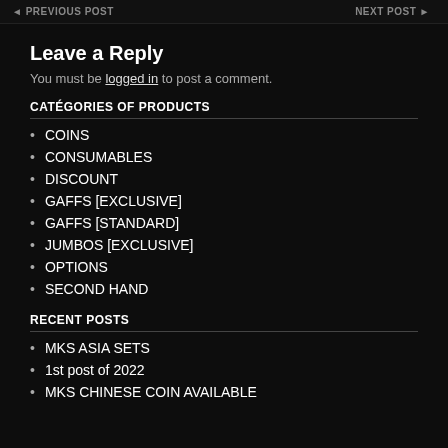◄ PREVIOUS POST    NEXT POST ►
Leave a Reply
You must be logged in to post a comment.
CATÉGORIES OF PRODUCTS
COINS
CONSUMABLES
DISCOUNT
GAFFS [EXCLUSIVE]
GAFFS [STANDARD]
JUMBOS [EXCLUSIVE]
OPTIONS
SECOND HAND
RECENT POSTS
MKS ASIA SETS
1st post of 2022
MKS CHINESE COIN AVAILABLE